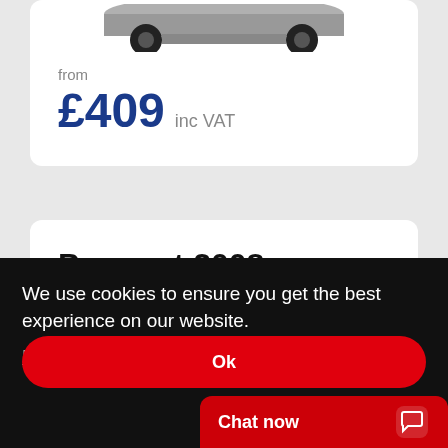[Figure (photo): Partial bottom view of a dark car (wheels and lower body visible)]
from
£409 inc VAT
Peugeot 2008
6 versions available
We use cookies to ensure you get the best experience on our website.
Learn more
Ok
Chat now